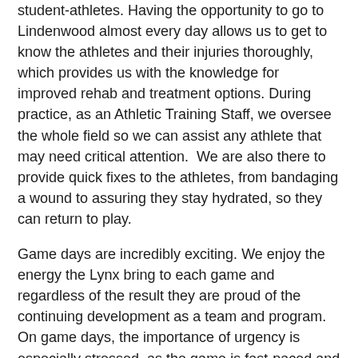student-athletes. Having the opportunity to go to Lindenwood almost every day allows us to get to know the athletes and their injuries thoroughly, which provides us with the knowledge for improved rehab and treatment options. During practice, as an Athletic Training Staff, we oversee the whole field so we can assist any athlete that may need critical attention.  We are also there to provide quick fixes to the athletes, from bandaging a wound to assuring they stay hydrated, so they can return to play.
Game days are incredibly exciting. We enjoy the energy the Lynx bring to each game and regardless of the result they are proud of the continuing development as a team and program. On game days, the importance of urgency is especially stressed, as the game is fast-paced and athletes, coaches, and fans, are looking for efficient and effective solutions. Also, these days can be very rewarding for both the players and us as athletic training students –whether we take home a win or help an injured athlete return to play to score the winning touchdown. We are looking forward to the next few weeks with home games to cheer on the team! Go Lynx!